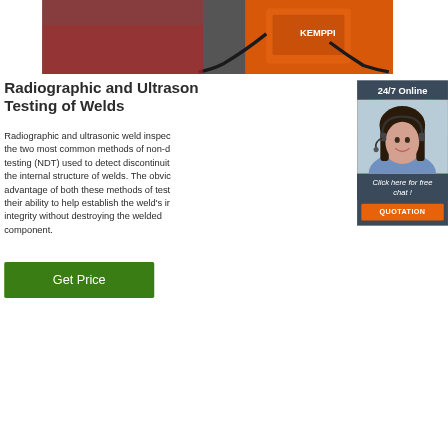[Figure (photo): Industrial welding equipment – orange Kemppi welding machine with cables on a surface]
Radiographic and Ultrasonic Testing of Welds
Radiographic and ultrasonic weld inspection are the two most common methods of non-destructive testing (NDT) used to detect discontinuities in the internal structure of welds. The obvious advantage of both these methods of testing is their ability to help establish the weld's integrity without destroying the welded component.
[Figure (photo): Customer service representative – woman with headset smiling, with 24/7 Online header, Click here for free chat text, and QUOTATION button]
Get Price